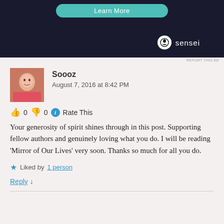[Figure (screenshot): Dark advertisement banner with a teal 'Learn More' button and Sensei logo at bottom right]
REPORT THIS AD
Soooz
August 7, 2016 at 8:42 PM
👍 0 👎 0 ℹ Rate This
Your generosity of spirit shines through in this post. Supporting fellow authors and genuinely loving what you do. I will be reading 'Mirror of Our Lives' very soon. Thanks so much for all you do.
★ Liked by 1 person
Reply ↓